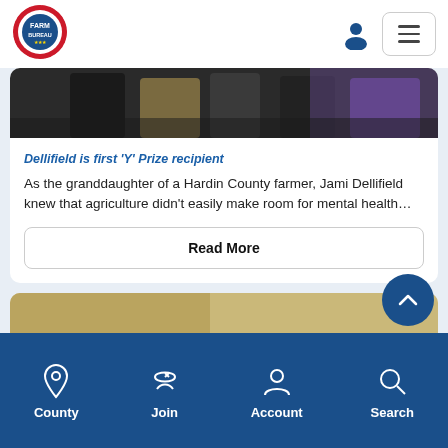[Figure (logo): Farm Bureau circular logo with red and blue colors]
[Figure (photo): Partial photo of people standing on a stage with purple lighting]
Dellifield is first ‘Y’ Prize recipient
As the granddaughter of a Hardin County farmer, Jami Dellifield knew that agriculture didn’t easily make room for mental health…
Read More
[Figure (photo): Partial photo of a second article, showing blurred subject]
County  Join  Account  Search